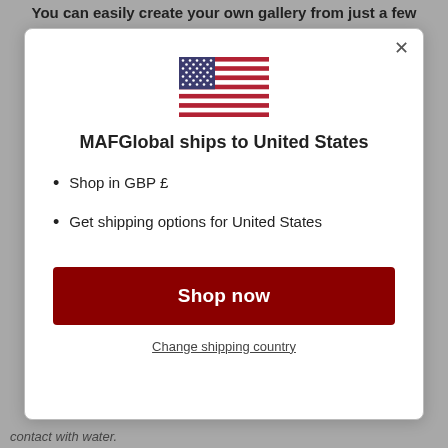You can easily create your own gallery from just a few
[Figure (screenshot): Modal dialog showing a US flag, title 'MAFGlobal ships to United States', bullet points listing 'Shop in GBP £' and 'Get shipping options for United States', a dark red 'Shop now' button, and a 'Change shipping country' link with a close (X) button in the top right corner.]
contact with water.